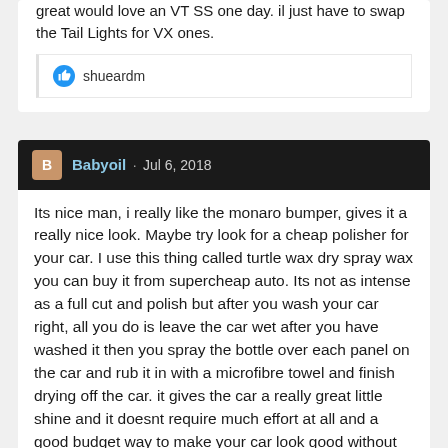great would love an VT SS one day. il just have to swap the Tail Lights for VX ones.
shueardm
Babyoil · Jul 6, 2018
Its nice man, i really like the monaro bumper, gives it a really nice look. Maybe try look for a cheap polisher for your car. I use this thing called turtle wax dry spray wax you can buy it from supercheap auto. Its not as intense as a full cut and polish but after you wash your car right, all you do is leave the car wet after you have washed it then you spray the bottle over each panel on the car and rub it in with a microfibre towel and finish drying off the car. it gives the car a really great little shine and it doesnt require much effort at all and a good budget way to make your car look good without going to full cut and polish way. Its only